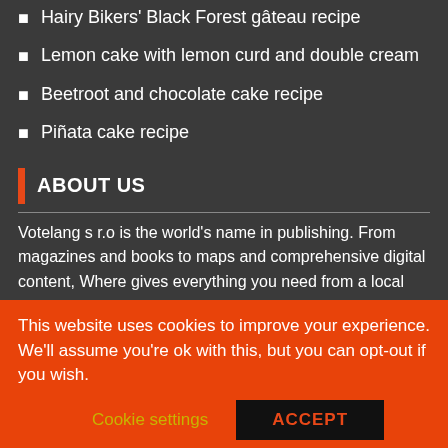Hairy Bikers' Black Forest gâteau recipe
Lemon cake with lemon curd and double cream
Beetroot and chocolate cake recipe
Piñata cake recipe
ABOUT US
Votelang s r.o is the world's name in publishing. From magazines and books to maps and comprehensive digital content, Where gives everything you need from a local perspective.
Each year, millions of readers trust Votelang s r.o for up-to-date information on where to go and what to see in more than 100 cities worldwide.
This website uses cookies to improve your experience. We'll assume you're ok with this, but you can opt-out if you wish.
Cookie settings
ACCEPT